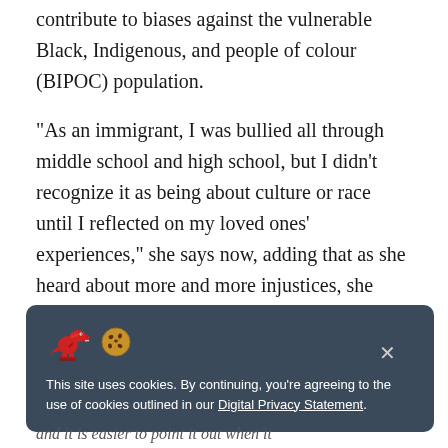contribute to biases against the vulnerable Black, Indigenous, and people of colour (BIPOC) population.
“As an immigrant, I was bullied all through middle school and high school, but I didn’t recognize it as being about culture or race until I reflected on my loved ones’ experiences,” she says now, adding that as she heard about more and more injustices, she became increasingly passionate about racial equality.
[Figure (other): Cookie consent banner with dinosaur and cookie emoji icons, close button, and text about cookie usage with link to Digital Privacy Statement.]
and it is easier to point it out when it